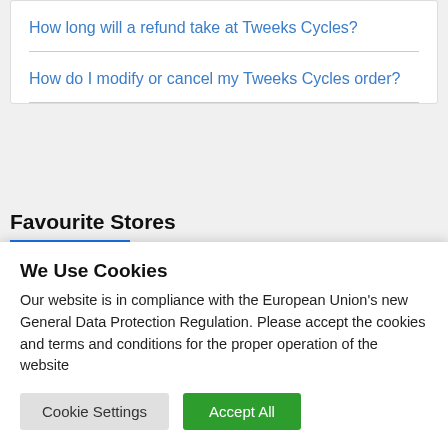How long will a refund take at Tweeks Cycles?
How do I modify or cancel my Tweeks Cycles order?
Favourite Stores
[Figure (other): Three partially visible store card placeholders in a row]
We Use Cookies
Our website is in compliance with the European Union's new General Data Protection Regulation. Please accept the cookies and terms and conditions for the proper operation of the website
Cookie Settings  Accept All